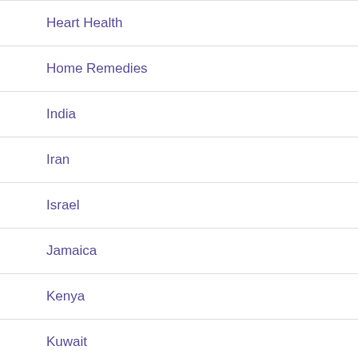Heart Health
Home Remedies
India
Iran
Israel
Jamaica
Kenya
Kuwait
Liberia
Life Saving Pill